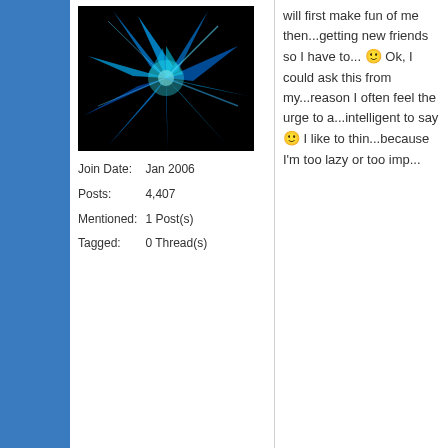[Figure (photo): Avatar image - blue crystal/explosion design on black background]
Join Date: Jan 2006
Posts: 4,407
Mentioned: 1 Post(s)
Tagged: 0 Thread(s)
will first make fun of me then...getting new friends so I have to... Ok, I could ask this from my...reason I often feel the urge to a...intelligent to say I like to thin...because I'm too lazy or too imp...
02-14-2006, 05:05 AM
Kim
[Figure (photo): Avatar image - colorful lifeguard tower on beach]
Join Date: Jun 2005
From two different people I got:

Imaginative, creative, playful, ra...

Drama queen, theory-building (...intelligent, fiery, (she added jea...

And the infamous last words of...of advice he would give his suc...